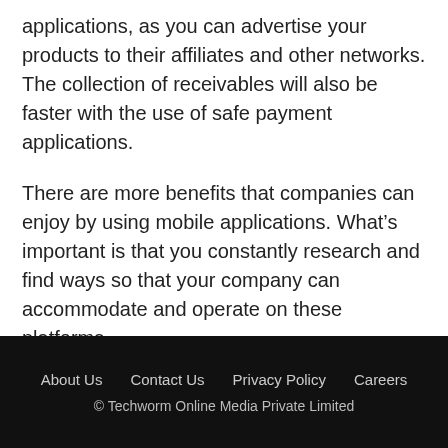applications, as you can advertise your products to their affiliates and other networks. The collection of receivables will also be faster with the use of safe payment applications.
There are more benefits that companies can enjoy by using mobile applications. What’s important is that you constantly research and find ways so that your company can accommodate and operate on these platforms.
About Us   Contact Us   Privacy Policy   Careers
© Techworm Online Media Private Limited